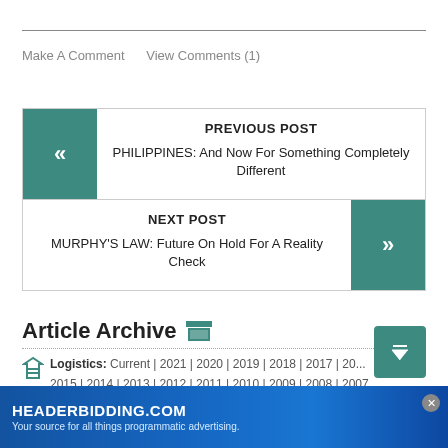Make A Comment   View Comments (1)
PREVIOUS POST
PHILIPPINES: And Now For Something Completely Different
NEXT POST
MURPHY'S LAW: Future On Hold For A Reality Check
Article Archive
Logistics: Current | 2021 | 2020 | 2019 | 2018 | 2017 | 2016 | 2015 | 2014 | 2013 | 2012 | 2011 | 2010 | 2009 | 2008 | 2007 | 20...
[Figure (screenshot): HEADERBIDDING.COM advertisement banner - Your source for all things programmatic advertising.]